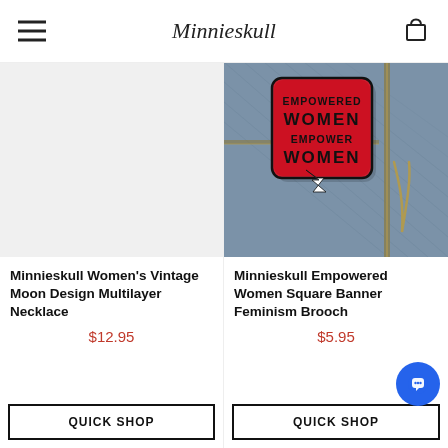Minnieskull
[Figure (photo): Light grey placeholder background for Women's Vintage Moon Design Multilayer Necklace product]
[Figure (photo): Close-up photo of denim fabric with a red square enamel pin reading EMPOWERED WOMEN EMPOWER WOMEN with lightning bolt design]
Minnieskull Women's Vintage Moon Design Multilayer Necklace
$12.95
QUICK SHOP
Minnieskull Empowered Women Square Banner Feminism Brooch
$5.95
QUICK SHOP